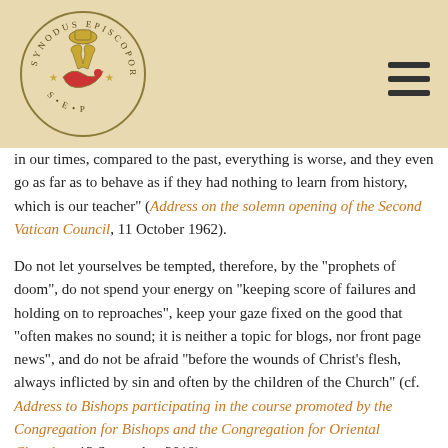Synodus Episcoporum logo and navigation
in our times, compared to the past, everything is worse, and they even go as far as to behave as if they had nothing to learn from history, which is our teacher" (Address on the solemn opening of the Second Vatican Council, 11 October 1962).
Do not let yourselves be tempted, therefore, by the “prophets of doom”, do not spend your energy on “keeping score of failures and holding on to reproaches”, keep your gaze fixed on the good that “often makes no sound; it is neither a topic for blogs, nor front page news”, and do not be afraid “before the wounds of Christ’s flesh, always inflicted by sin and often by the children of the Church” (cf. Address to Bishops participating in the course promoted by the Congregation for Bishops and the Congregation for Oriental Churches, 13 September 2018).
Let us therefore work to “spend time with the future”, to take from this Synod not merely a document – that